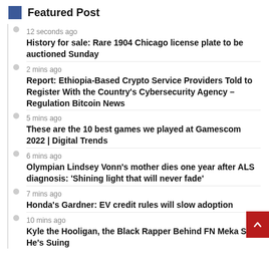Featured Post
12 seconds ago
History for sale: Rare 1904 Chicago license plate to be auctioned Sunday
2 mins ago
Report: Ethiopia-Based Crypto Service Providers Told to Register With the Country's Cybersecurity Agency – Regulation Bitcoin News
5 mins ago
These are the 10 best games we played at Gamescom 2022 | Digital Trends
6 mins ago
Olympian Lindsey Vonn's mother dies one year after ALS diagnosis: 'Shining light that will never fade'
7 mins ago
Honda's Gardner: EV credit rules will slow adoption
10 mins ago
Kyle the Hooligan, the Black Rapper Behind FN Meka Says He's Suing